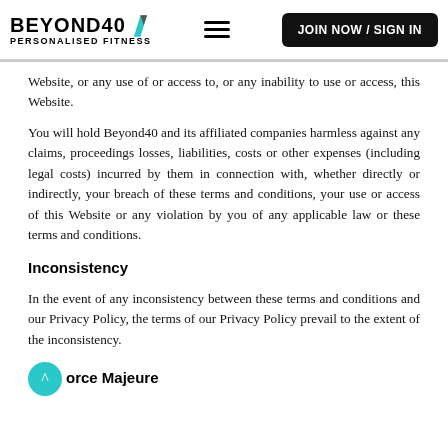BEYOND40 PERSONALISED FITNESS | JOIN NOW / SIGN IN
Website, or any use of or access to, or any inability to use or access, this Website.
You will hold Beyond40 and its affiliated companies harmless against any claims, proceedings losses, liabilities, costs or other expenses (including legal costs) incurred by them in connection with, whether directly or indirectly, your breach of these terms and conditions, your use or access of this Website or any violation by you of any applicable law or these terms and conditions.
Inconsistency
In the event of any inconsistency between these terms and conditions and our Privacy Policy, the terms of our Privacy Policy prevail to the extent of the inconsistency.
Force Majeure